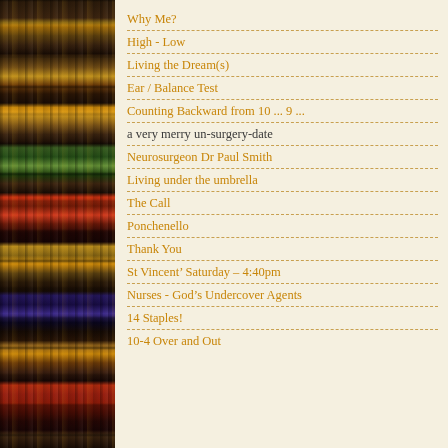[Figure (photo): Photograph of bookshelves with colorful books arranged on wooden shelves, occupying the left side of the page.]
Why Me?
High - Low
Living the Dream(s)
Ear / Balance Test
Counting Backward from 10 ... 9 ...
a very merry un-surgery-date
Neurosurgeon Dr Paul Smith
Living under the umbrella
The Call
Ponchenello
Thank You
St Vincent’ Saturday – 4:40pm
Nurses - God’s Undercover Agents
14 Staples!
10-4 Over and Out